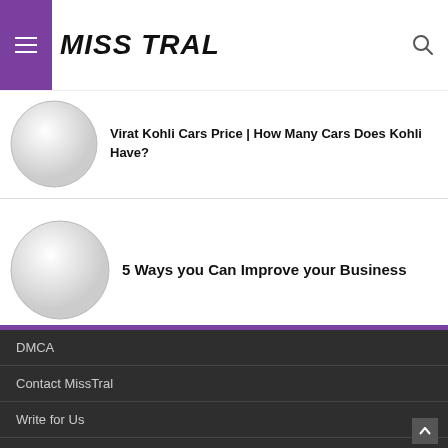MissTral
[Figure (illustration): Circular thumbnail placeholder for Virat Kohli Cars article]
Virat Kohli Cars Price | How Many Cars Does Kohli Have?
[Figure (illustration): Circular thumbnail placeholder for 5 Ways article]
5 Ways you Can Improve your Business
DMCA
Contact MissTral
Write for Us